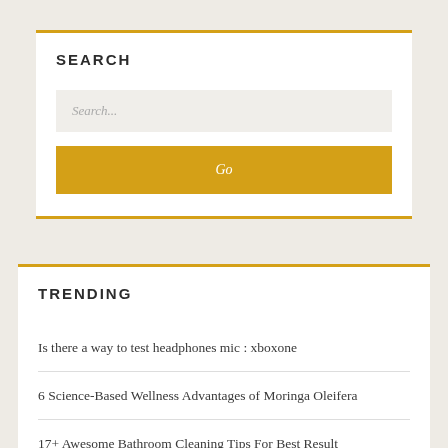SEARCH
Search...
Go
TRENDING
Is there a way to test headphones mic : xboxone
6 Science-Based Wellness Advantages of Moringa Oleifera
17+ Awesome Bathroom Cleaning Tips For Best Result